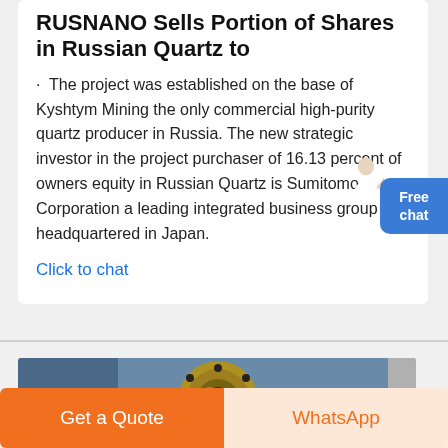RUSNANO Sells Portion of Shares in Russian Quartz to
The project was established on the base of Kyshtym Mining the only commercial high-purity quartz producer in Russia. The new strategic investor in the project purchaser of 16.13 percent of owners equity in Russian Quartz is Sumitomo Corporation a leading integrated business group headquartered in Japan.
Click to chat
[Figure (photo): Close-up photograph of a metallic industrial flange or coupling component, circular shaped, bronze/brass colored, with bolt holes visible]
Get a Quote
WhatsApp